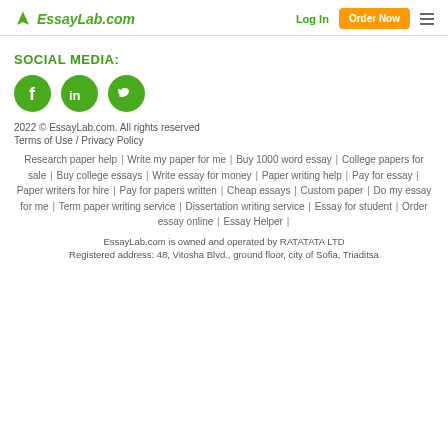EssayLab.com | Log In | Order Now
SOCIAL MEDIA:
[Figure (illustration): Three green circular social media icons: Facebook (f), LinkedIn (in), and Twitter (bird icon)]
2022 © EssayLab.com. All rights reserved
Terms of Use / Privacy Policy
Research paper help | Write my paper for me | Buy 1000 word essay | College papers for sale | Buy college essays | Write essay for money | Paper writing help | Pay for essay | Paper writers for hire | Pay for papers written | Cheap essays | Custom paper | Do my essay for me | Term paper writing service | Dissertation writing service | Essay for student | Order essay online | Essay Helper |
EssayLab.com is owned and operated by RATATATA LTD
Registered address: 48, Vitosha Blvd., ground floor, city of Sofia, Triaditsa